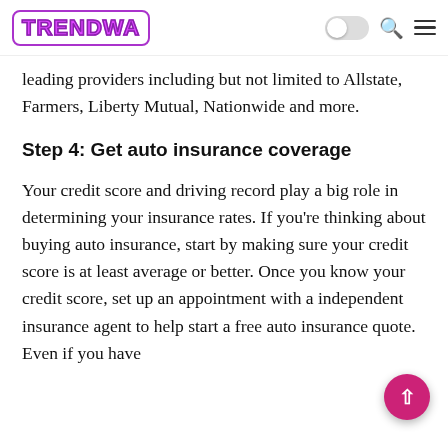TRENDWA
leading providers including but not limited to Allstate, Farmers, Liberty Mutual, Nationwide and more.
Step 4: Get auto insurance coverage
Your credit score and driving record play a big role in determining your insurance rates. If you're thinking about buying auto insurance, start by making sure your credit score is at least average or better. Once you know your credit score, set up an appointment with a independent insurance agent to help start a free auto insurance quote. Even if you have